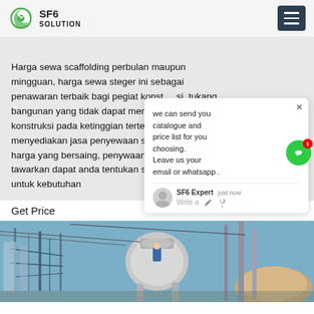SF6 SOLUTION
Harga sewa scaffolding perbulan maupun mingguan, harga sewa steger ini sebagai penawaran terbaik bagi pegiat konstruksi, tukang bangunan yang tidak dapat menjangkau konstruksi pada ketinggian tertentu. menyediakan jasa penyewaan scaffolding dengan harga yang bersaing, penywaan yang kami tawarkan dapat anda tentukan sendiri untuk kebutuhan
Get Price
[Figure (photo): Industrial electrical substation with large metal equipment, pipes, and a worker in blue working on machinery]